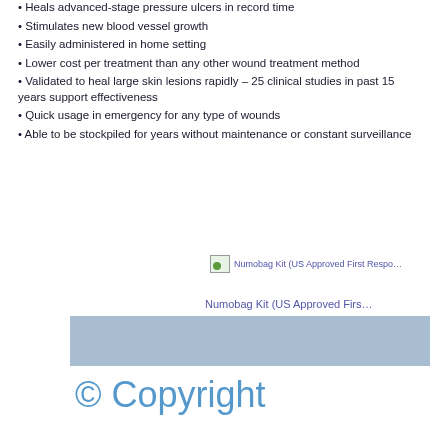Heals advanced-stage pressure ulcers in record time
Stimulates new blood vessel growth
Easily administered in home setting
Lower cost per treatment than any other wound treatment method
Validated to heal large skin lesions rapidly – 25 clinical studies in past 15 years support effectiveness
Quick usage in emergency for any type of wounds
Able to be stockpiled for years without maintenance or constant surveillance
[Figure (photo): Numobag Kit (US Approved First Responder kit) image placeholder]
Numobag Kit (US Approved Firs…
© Copyright